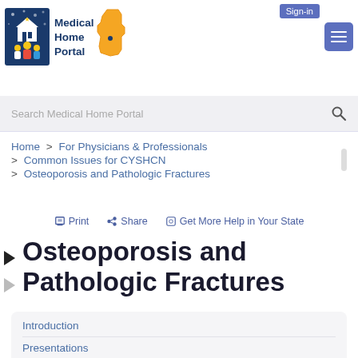[Figure (logo): Medical Home Portal logo with Idaho state shape]
Sign-in
Search Medical Home Portal
Home > For Physicians & Professionals > Common Issues for CYSHCN > Osteoporosis and Pathologic Fractures
Print   Share   Get More Help in Your State
Osteoporosis and Pathologic Fractures
Introduction
Presentations
Surveillance and Screening
Diagnosis